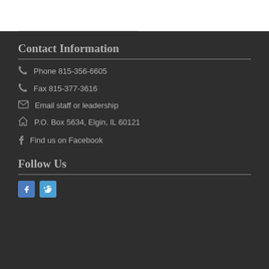Contact Information
Phone 815-356-6605
Fax 815-377-3616
Email staff or leadership
P.O. Box 5634, Elgin, IL 60121
Find us on Facebook
Follow Us